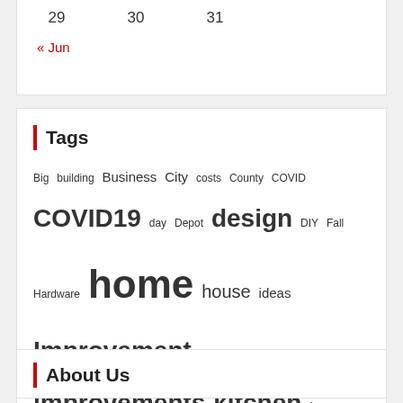29   30   31
« Jun
Tags
Big building Business City costs County COVID COVID19 day Depot design DIY Fall Hardware home house ideas Improvement improvements kitchen Lowes Market million mortgage News Pandemic park program project projects Remodel Remodeling renovation repair sales Show smart State Stores time Tips Top ways work Working
About Us